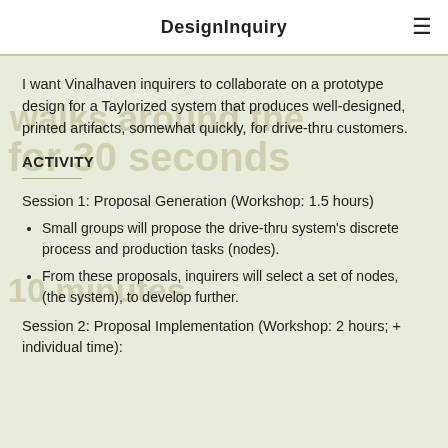DesignInquiry
I want Vinalhaven inquirers to collaborate on a prototype design for a Taylorized system that produces well-designed, printed artifacts, somewhat quickly, for drive-thru customers.
ACTIVITY
Session 1: Proposal Generation (Workshop: 1.5 hours)
Small groups will propose the drive-thru system's discrete process and production tasks (nodes).
From these proposals, inquirers will select a set of nodes, (the system), to develop further.
Session 2: Proposal Implementation (Workshop: 2 hours; + individual time):